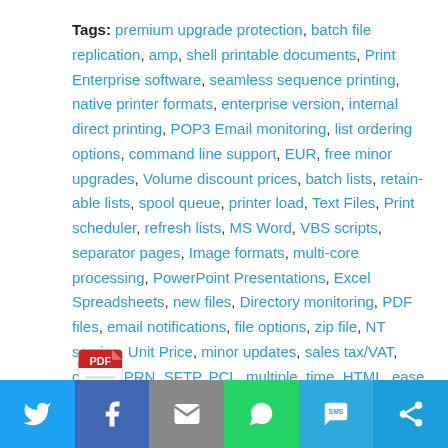Tags: premium upgrade protection, batch file replication, amp, shell printable documents, Print Enterprise software, seamless sequence printing, native printer formats, enterprise version, internal direct printing, POP3 Email monitoring, list ordering options, command line support, EUR, free minor upgrades, Volume discount prices, batch lists, retain-able lists, spool queue, printer load, Text Files, Print scheduler, refresh lists, MS Word, VBS scripts, separator pages, Image formats, multi-core processing, PowerPoint Presentations, Excel Spreadsheets, new files, Directory monitoring, PDF files, email notifications, file options, zip file, NT service, Unit Price, minor updates, sales tax/VAT, choice, PRN, SFTP, PCL, multiple, time, HTML, ease, features, e.g, PS
[Figure (illustration): PDF file icon - red and white PDF logo]
[Figure (infographic): Social sharing bar with Twitter, Facebook, Email, WhatsApp, SMS, and Share buttons]